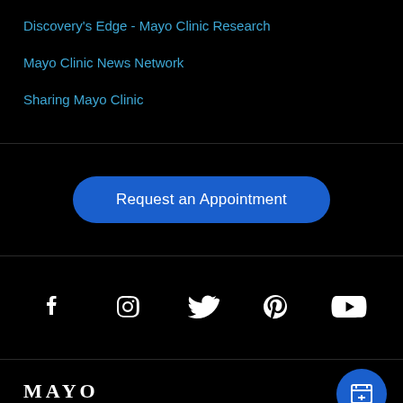Discovery's Edge - Mayo Clinic Research
Mayo Clinic News Network
Sharing Mayo Clinic
Request an Appointment
[Figure (infographic): Social media icons row: Facebook, Instagram, Twitter, Pinterest, YouTube]
[Figure (logo): Mayo Clinic logo text - MAYO]